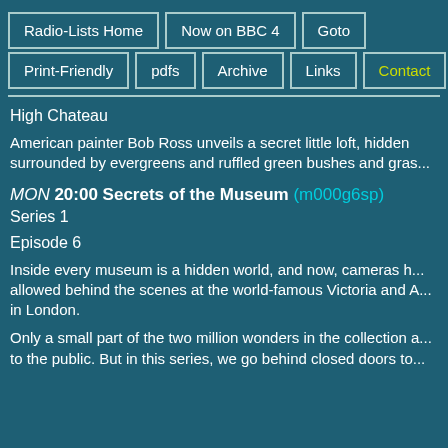Radio-Lists Home
Now on BBC 4
Goto
Print-Friendly
pdfs
Archive
Links
Contact
High Chateau
American painter Bob Ross unveils a secret little loft, hidden surrounded by evergreens and ruffled green bushes and gras...
MON 20:00 Secrets of the Museum (m000g6sp)
Series 1
Episode 6
Inside every museum is a hidden world, and now, cameras h... allowed behind the scenes at the world-famous Victoria and A... in London.
Only a small part of the two million wonders in the collection a... to the public. But in this series, we go behind closed doors to...